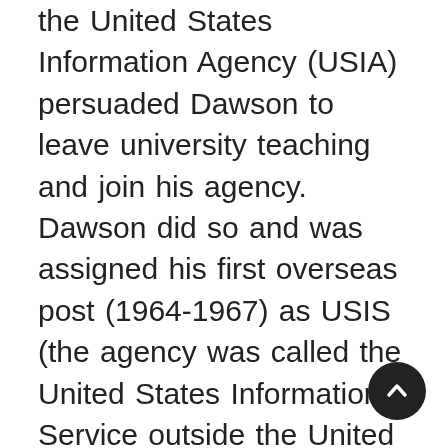the United States Information Agency (USIA) persuaded Dawson to leave university teaching and join his agency. Dawson did so and was assigned his first overseas post (1964-1967) as USIS (the agency was called the United States Information Service outside the United States) officer at the U.S. Embassy in Kampala, Uganda. He served as the cultural affairs officer where his primary responsibilities included identifying and interpreting major stories in the U.S. press to Ugandan reporters and more generally keeping the Ugandan government and people aware of U.S. interests in maintaining democratic institutions in nations around the world. Dawson drew upon his academic experience to help promote cultural exchange and